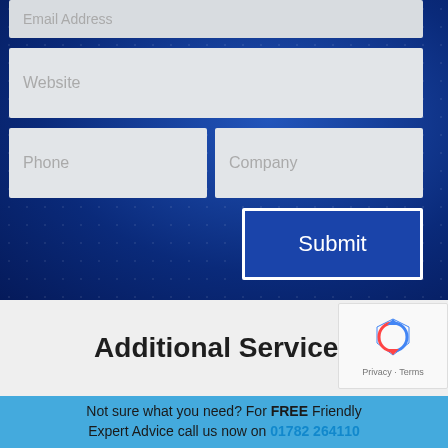[Figure (screenshot): Web contact form with fields: Email Address (partially visible at top), Website, Phone, Company, and a Submit button on a dark blue textured background]
Additional Services
[Figure (other): reCAPTCHA widget showing recycling arrows logo with Privacy and Terms links]
Not sure what you need? For FREE Friendly Expert Advice call us now on 01782 264110